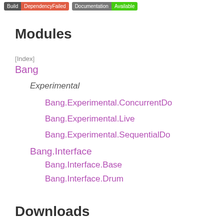[Figure (other): Two status badges: 'Build | DependencyFailed' and 'Documentation | Available']
Modules
[Index]
Bang
Experimental
Bang.Experimental.ConcurrentDo
Bang.Experimental.Live
Bang.Experimental.SequentialDo
Bang.Interface
Bang.Interface.Base
Bang.Interface.Drum
Bang.Music
Bang.Music.Class
Bang.Music.Operators
Bang.Music.Transform
Downloads